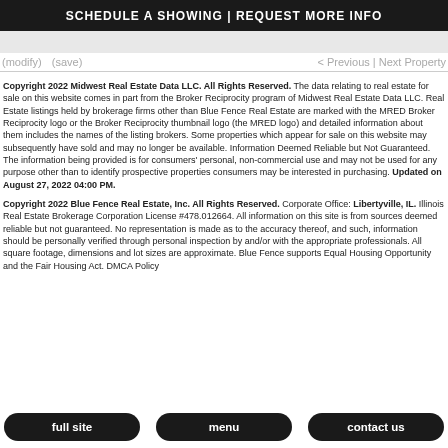SCHEDULE A SHOWING | REQUEST MORE INFO
(modify)   (save)   < Previous | Next Property
Copyright 2022 Midwest Real Estate Data LLC. All Rights Reserved. The data relating to real estate for sale on this website comes in part from the Broker Reciprocity program of Midwest Real Estate Data LLC. Real Estate listings held by brokerage firms other than Blue Fence Real Estate are marked with the MRED Broker Reciprocity logo or the Broker Reciprocity thumbnail logo (the MRED logo) and detailed information about them includes the names of the listing brokers. Some properties which appear for sale on this website may subsequently have sold and may no longer be available. Information Deemed Reliable but Not Guaranteed. The information being provided is for consumers' personal, non-commercial use and may not be used for any purpose other than to identify prospective properties consumers may be interested in purchasing. Updated on August 27, 2022 04:00 PM.
Copyright 2022 Blue Fence Real Estate, Inc. All Rights Reserved. Corporate Office: Libertyville, IL. Illinois Real Estate Brokerage Corporation License #478.012664. All information on this site is from sources deemed reliable but not guaranteed. No representation is made as to the accuracy thereof, and such, information should be personally verified through personal inspection by and/or with the appropriate professionals. All square footage, dimensions and lot sizes are approximate. Blue Fence supports Equal Housing Opportunity and the Fair Housing Act. DMCA Policy
full site   menu   contact us